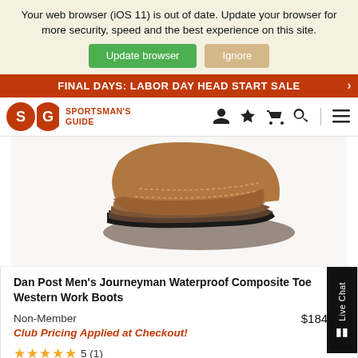Your web browser (iOS 11) is out of date. Update your browser for more security, speed and the best experience on this site.
Update browser  Ignore
FINAL DAYS: LABOR DAY HEAD START SALE
[Figure (logo): Sportsman's Guide logo with SG letters and deer icon, orange/red color]
[Figure (photo): Dan Post Men's Journeyman Waterproof Composite Toe Western Work Boots product photo showing leather boot sole and heel]
Dan Post Men's Journeyman Waterproof Composite Toe Western Work Boots
Non-Member  $184.99
Club Pricing Applied at Checkout!
★★★★★ 5 (1)